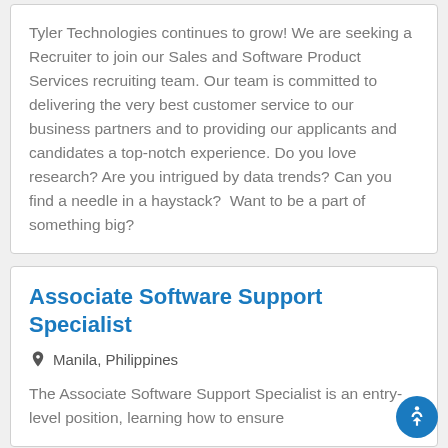Tyler Technologies continues to grow! We are seeking a Recruiter to join our Sales and Software Product Services recruiting team. Our team is committed to delivering the very best customer service to our business partners and to providing our applicants and candidates a top-notch experience. Do you love research? Are you intrigued by data trends? Can you find a needle in a haystack? Want to be a part of something big?
Associate Software Support Specialist
Manila, Philippines
The Associate Software Support Specialist is an entry-level position, learning how to ensure